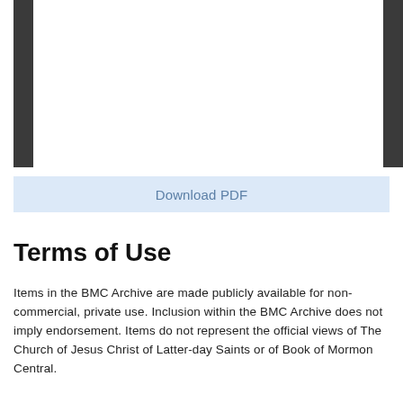[Figure (other): Two vertical black bars/columns partially visible at left and right edges, suggesting a book or document scan with dark spine/edge visible.]
Download PDF
Terms of Use
Items in the BMC Archive are made publicly available for non-commercial, private use. Inclusion within the BMC Archive does not imply endorsement. Items do not represent the official views of The Church of Jesus Christ of Latter-day Saints or of Book of Mormon Central.